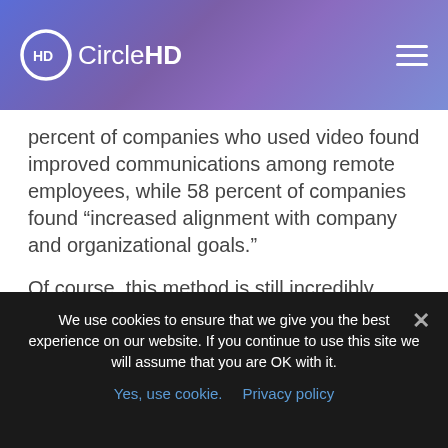CircleHD
percent of companies who used video found improved communications among remote employees, while 58 percent of companies found “increased alignment with company and organizational goals.”
Of course, this method is still incredibly effective when you’re not dealing with a pandemic. Video is one of the most effective tools for leaders. The best executive videos aren’t just a way to share what’s going on in the company, they’re a way to call people to action.
Build an inclusive culture when all employees
We use cookies to ensure that we give you the best experience on our website. If you continue to use this site we will assume that you are OK with it.